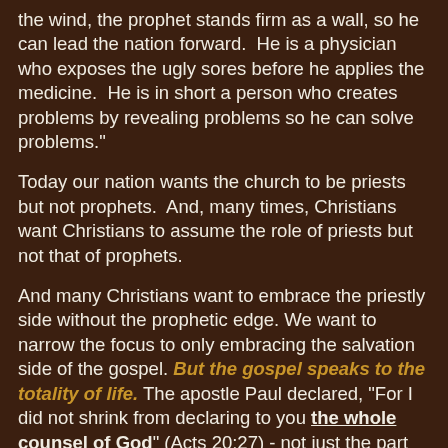the wind, the prophet stands firm as a wall, so he can lead the nation forward.  He is a physician who exposes the ugly sores before he applies the medicine.  He is in short a person who creates problems by revealing problems so he can solve problems."
Today our nation wants the church to be priests but not prophets.  And, many times, Christians want Christians to assume the role of priests but not that of prophets.
And many Christians want to embrace the priestly side without the prophetic edge. We want to narrow the focus to only embracing the salvation side of the gospel. But the gospel speaks to the totality of life. The apostle Paul declared, "For I did not shrink from declaring to you the whole counsel of God" (Acts 20:27) - not just the part about salvation.